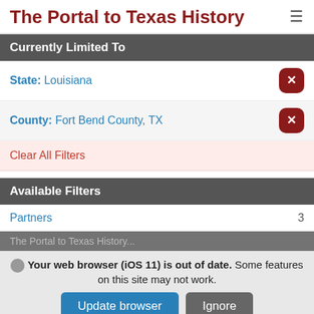The Portal to Texas History
Currently Limited To
State: Louisiana
County: Fort Bend County, TX
Clear All Filters
Available Filters
Partners  3
Your web browser (iOS 11) is out of date. Some features on this site may not work.